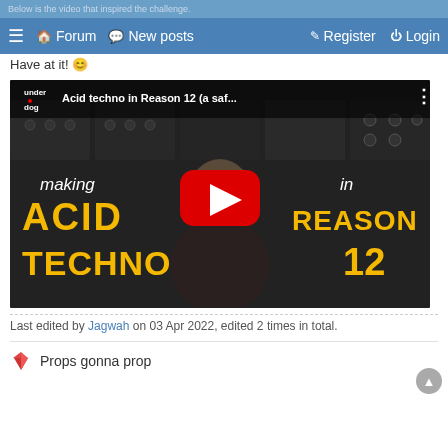Below is the video that inspired the challenge.
☰  🏠 Forum  💬 New posts  ✎ Register  ⏻ Login
Have at it! 😊
[Figure (screenshot): YouTube video thumbnail for 'Acid techno in Reason 12 (a saf...' by underdog channel, showing a bald man in front of synthesizer equipment with text 'making ACID TECHNO in REASON 12' and a red YouTube play button.]
Last edited by Jagwah on 03 Apr 2022, edited 2 times in total.
🔴 Props gonna prop